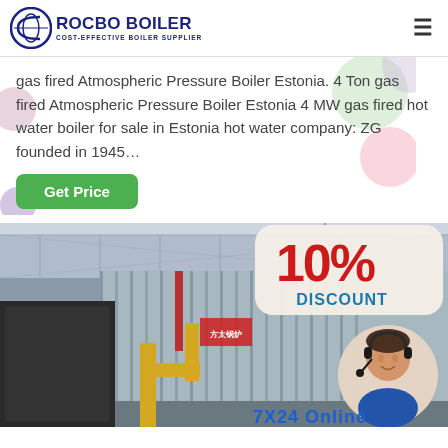ROCBO BOILER COST-EFFECTIVE BOILER SUPPLIER
gas fired Atmospheric Pressure Boiler Estonia. 4 Ton gas fired Atmospheric Pressure Boiler Estonia 4 MW gas fired hot water boiler for sale in Estonia hot water company: ZG founded in 1945…
[Figure (illustration): A 'Get Price' green button below the body text]
[Figure (photo): Industrial boiler in a factory setting with a 10% DISCOUNT promotional overlay and a customer service representative wearing a headset, with '7X24 Online' text at the bottom right]